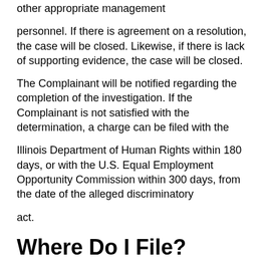other appropriate management
personnel. If there is agreement on a resolution, the case will be closed. Likewise, if there is lack of supporting evidence, the case will be closed.
The Complainant will be notified regarding the completion of the investigation. If the Complainant is not satisfied with the determination, a charge can be filed with the
Illinois Department of Human Rights within 180 days, or with the U.S. Equal Employment Opportunity Commission within 300 days, from the date of the alleged discriminatory
act.
Where Do I File?
Charges can be filed internally with the Bureau of